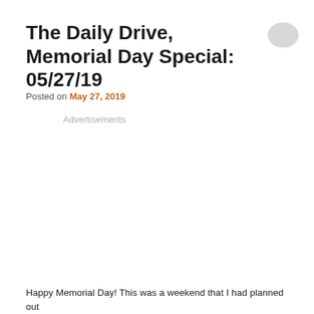The Daily Drive, Memorial Day Special: 05/27/19
[Figure (illustration): Speech bubble / comment icon in light gray, top right corner]
Posted on May 27, 2019
Advertisements
Happy Memorial Day! This was a weekend that I had planned out